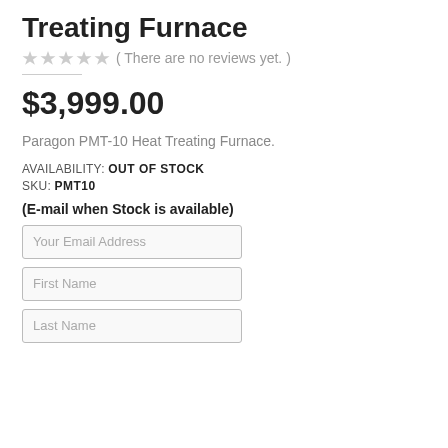Treating Furnace
( There are no reviews yet. )
$3,999.00
Paragon PMT-10 Heat Treating Furnace.
AVAILABILITY: OUT OF STOCK
SKU: PMT10
(E-mail when Stock is available)
Your Email Address
First Name
Last Name